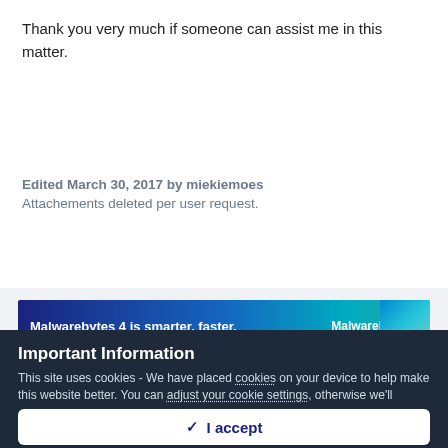Thank you very much if someone can assist me in this matter.
Edited March 30, 2017 by miekiemoes
Attachements deleted per user request.
[Figure (screenshot): Malwarebytes 4 is smarter, faster. advertisement banner with blue gradient background and Malwarebytes logo.]
Important Information
This site uses cookies - We have placed cookies on your device to help make this website better. You can adjust your cookie settings, otherwise we'll assume you're okay to continue.
✓  I accept